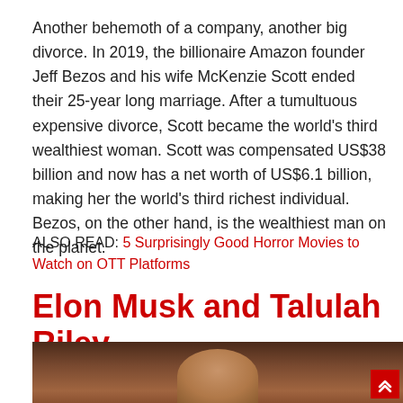Another behemoth of a company, another big divorce. In 2019, the billionaire Amazon founder Jeff Bezos and his wife McKenzie Scott ended their 25-year long marriage. After a tumultuous expensive divorce, Scott became the world's third wealthiest woman. Scott was compensated US$38 billion and now has a net worth of US$6.1 billion, making her the world's third richest individual. Bezos, on the other hand, is the wealthiest man on the planet.
ALSO READ: 5 Surprisingly Good Horror Movies to Watch on OTT Platforms
Elon Musk and Talulah Riley
[Figure (photo): Photo of two people, partially visible, dark brownish background with bookshelf]